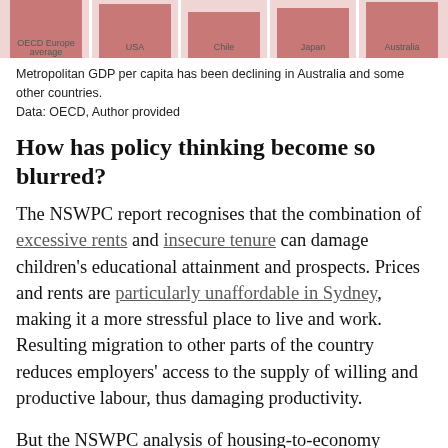[Figure (bar-chart): Partial bar chart visible at top of page showing metropolitan GDP per capita comparisons across countries, bars in muted red/salmon color]
Metropolitan GDP per capita has been declining in Australia and some other countries. Data: OECD, Author provided
How has policy thinking become so blurred?
The NSWPC report recognises that the combination of excessive rents and insecure tenure can damage children's educational attainment and prospects. Prices and rents are particularly unaffordable in Sydney, making it a more stressful place to live and work. Resulting migration to other parts of the country reduces employers' access to the supply of willing and productive labour, thus damaging productivity.
But the NSWPC analysis of housing-to-economy interactions does not go anything like far enough. As our research shows, Australia's dysfunctional